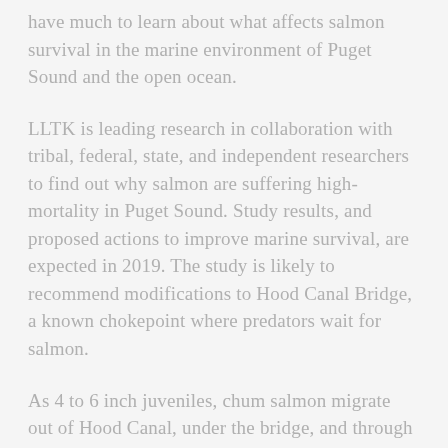have much to learn about what affects salmon survival in the marine environment of Puget Sound and the open ocean.
LLTK is leading research in collaboration with tribal, federal, state, and independent researchers to find out why salmon are suffering high-mortality in Puget Sound. Study results, and proposed actions to improve marine survival, are expected in 2019. The study is likely to recommend modifications to Hood Canal Bridge, a known chokepoint where predators wait for salmon.
As 4 to 6 inch juveniles, chum salmon migrate out of Hood Canal, under the bridge, and through the Strait of Juan de Fuca before heading north to the Gulf of Alaska. In the ocean, they will feed and grow for 2-3 years, reaching about two feet in length and weighing 8-10 pounds before returning